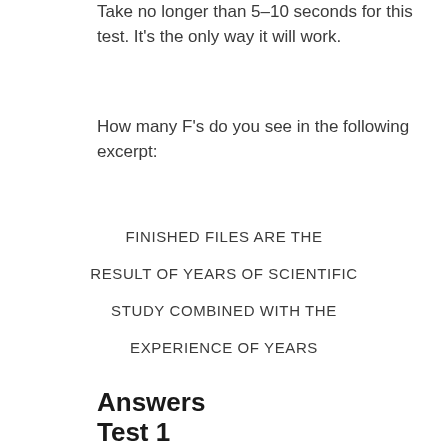Take no longer than 5–10 seconds for this test. It's the only way it will work.
How many F's do you see in the following excerpt:
FINISHED FILES ARE THE
RESULT OF YEARS OF SCIENTIFIC
STUDY COMBINED WITH THE
EXPERIENCE OF YEARS
Answers
Test 1